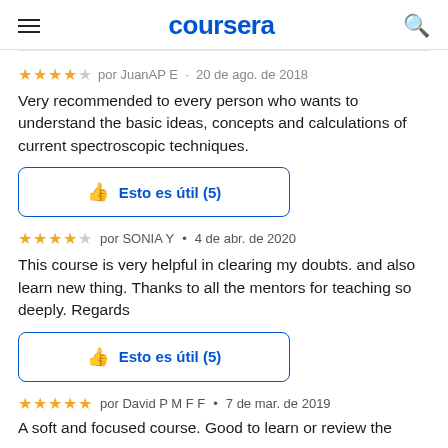coursera
por JuanAP2 · 20 de ago. de 2018 (partially visible)
Very recommended to every person who wants to understand the basic ideas, concepts and calculations of current spectroscopic techniques.
Esto es útil (5)
por SONIA Y · 4 de abr. de 2020
This course is very helpful in clearing my doubts. and also learn new thing. Thanks to all the mentors for teaching so deeply. Regards
Esto es útil (5)
por David P M F F · 7 de mar. de 2019
A soft and focused course. Good to learn or review the (partially visible)